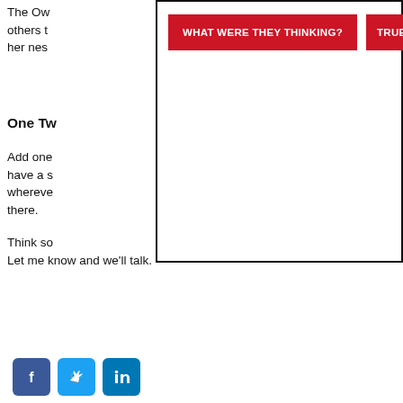The Ow... others t... her nes...
One Tw...
Add one... have a s... whereve... there.
[Figure (screenshot): A popup overlay box containing two red buttons labeled 'WHAT WERE THEY THINKING?' and 'TRUE G...' on white background with black border.]
Think so...
Let me know and we'll talk.
[Figure (illustration): Three social media icons: Facebook (blue), Twitter (light blue), LinkedIn (blue)]